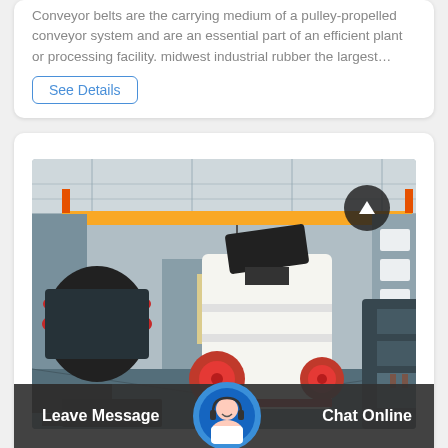Conveyor belts are the carrying medium of a pulley-propelled conveyor system and are an essential part of an efficient plant or processing facility. midwest industrial rubber the largest...
See Details
[Figure (photo): Interior of a large industrial factory/warehouse with overhead yellow crane beam, a large white impact crusher machine in the center, industrial ball mill on the left, and other heavy machinery. High ceiling with skylights.]
Leave Message
Chat Online